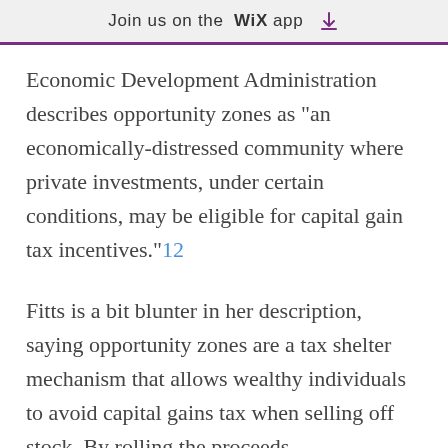Join us on the WiX app
Economic Development Administration describes opportunity zones as "an economically-distressed community where private investments, under certain conditions, may be eligible for capital gain tax incentives."12
Fitts is a bit blunter in her description, saying opportunity zones are a tax shelter mechanism that allows wealthy individuals to avoid capital gains tax when selling off stock. By rolling the proceeds